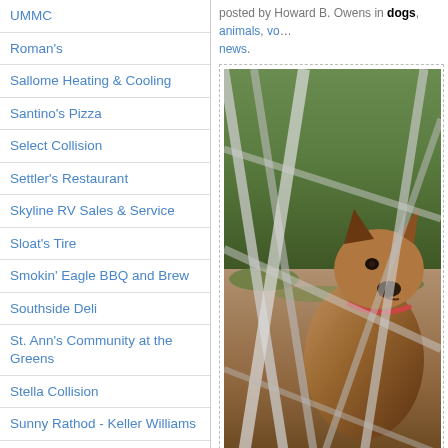UMMC
Roman's
Sallome Heating & Cooling
Santino's Pizza
Select Collision
Settler's Restaurant
Skyline RV Sales & Service
Sloat's Tire
Smokin' Eagle BBQ and Brew
Southside Deli
St. Ann's Community at the Greens
Stella Collision
Sunny Rathod - Keller Williams
Sweet Betty's
T.F. Brown's
Terance Cranston Construction
posted by Howard B. Owens in dogs, animals, vo... news.
[Figure (photo): A German Shepherd dog photographed through a chain-link fence, with grass and dirt ground visible in background.]
Lily has been granted clemency, at least for now.
Public Defender Jerry Ader, attorney David Fitch, Durin Rogers held meetings over the past two da... Lily her life potentially, while the conviction of D...